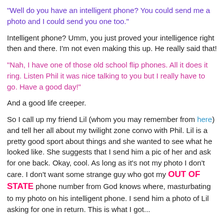“Well do you have an intelligent phone? You could send me a photo and I could send you one too.”
Intelligent phone? Umm, you just proved your intelligence right then and there. I’m not even making this up. He really said that!
“Nah, I have one of those old school flip phones. All it does it ring. Listen Phil it was nice talking to you but I really have to go. Have a good day!”
And a good life creeper.
So I call up my friend Lil (whom you may remember from here) and tell her all about my twilight zone convo with Phil. Lil is a pretty good sport about things and she wanted to see what he looked like. She suggests that I send him a pic of her and ask for one back. Okay, cool. As long as it’s not my photo I don’t care. I don’t want some strange guy who got my OUT OF STATE phone number from God knows where, masturbating to my photo on his intelligent phone. I send him a photo of Lil asking for one in return. This is what I got...